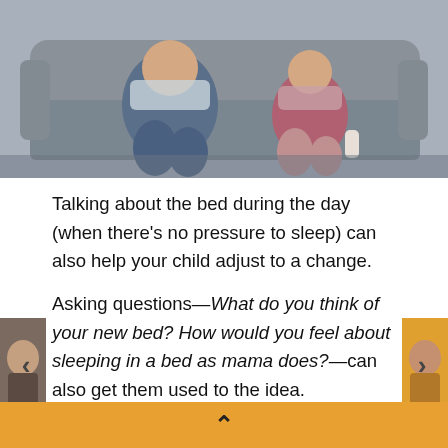[Figure (photo): Two people (adult and child) sitting on a grey couch, partially cropped at the top]
Talking about the bed during the day (when there's no pressure to sleep) can also help your child adjust to a change.
Asking questions—What do you think of your new bed? How would you feel about sleeping in a bed as mama does?—can also get them used to the idea.
Try to avoid assumption statements such as, Aren't you so excited about your bed?